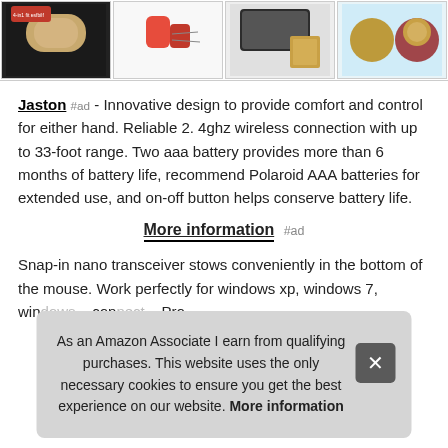[Figure (photo): Row of four product thumbnail images showing Iron Man themed computer mice and accessories]
Jaston #ad - Innovative design to provide comfort and control for either hand. Reliable 2. 4ghz wireless connection with up to 33-foot range. Two aaa battery provides more than 6 months of battery life, recommend Polaroid AAA batteries for extended use, and on-off button helps conserve battery life.
More information #ad
Snap-in nano transceiver stows conveniently in the bottom of the mouse. Work perfectly for windows xp, windows 7, wind... con... Pro...
As an Amazon Associate I earn from qualifying purchases. This website uses the only necessary cookies to ensure you get the best experience on our website. More information